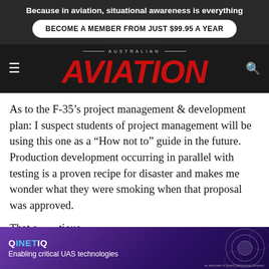Because in aviation, situational awareness is everything
BECOME A MEMBER FROM JUST $99.95 A YEAR
[Figure (logo): Australian Aviation magazine masthead logo with hamburger menu icon on left and search icon on right]
As to the F-35’s project management & development plan: I suspect students of project management will be using this one as a “How not to” guide in the future. Production development occurring in parallel with testing is a proven recipe for disaster and makes me wonder what they were smoking when that proposal was approved.
That s…tious about… up
[Figure (other): QinetiQ advertisement banner: Enabling critical UAS technologies, with purple/dark background and drone imagery]